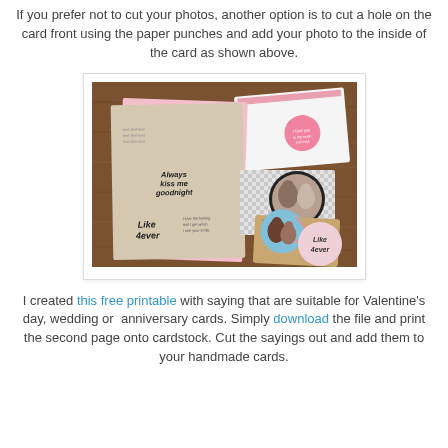If you prefer not to cut your photos, another option is to cut a hole on the card front using the paper punches and add your photo to the inside of the card as shown above.
[Figure (photo): A photograph showing handmade cards and gift tags laid out on a wooden table. Cards feature romantic sayings like 'Always kiss me goodnight' and 'Like 4ever', with circular photo cutouts showing couples. Pink envelope and patterned card stock visible.]
I created this free printable with saying that are suitable for Valentine's day, wedding or  anniversary cards. Simply download the file and print the second page onto cardstock. Cut the sayings out and add them to your handmade cards.